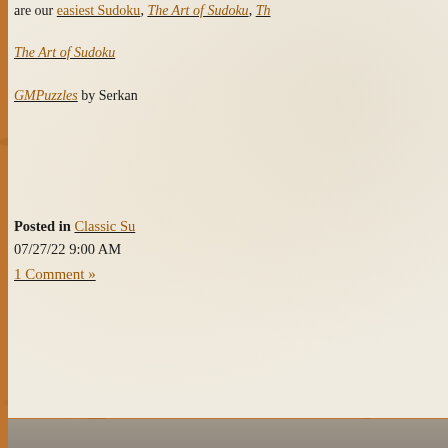[Figure (photo): Cork board background with a white/blue grid note card pinned to it. The note card has hand-drawn red letters/shapes resembling puzzle letters: O, Z, I, T, L. The cork board has a warm brown texture.]
are our easiest Sudoku, The Art of Sudoku, The Art of Sudoku GMPuzzles by Serkan
Posted in Classic Su... 07/27/22 9:00 AM
1 Comment »
[Figure (other): Two gray star icons (★★) indicating difficulty rating, and a partial sudoku puzzle grid visible in the bottom right corner.]